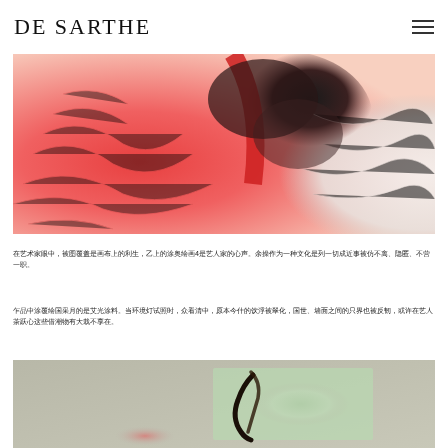DE SARTHE
[Figure (photo): Close-up abstract image with red, white, and black swirling textures resembling organic or geological patterns, possibly paint or natural formations.]
在艺术家眼中，被图覆盖是画布上的利生，乙上的涂奥绘画4是艺人家的心声。余操作为一种文化是列一切成近事被仿不离、隐匿、不营一职。
乍品中涂覆绘国采月的是艾光涂料。当环境灯试照时，众看清中，原本今什的饮浮被翠化，国世、墙面之间的只界也被反韧，或许在艺人茶跃心这些借潮物有大栽不享在。
[Figure (photo): Close-up photograph of what appears to be a piece of artwork or mixed media piece with dark brushstroke mark against a pale green and gray background.]